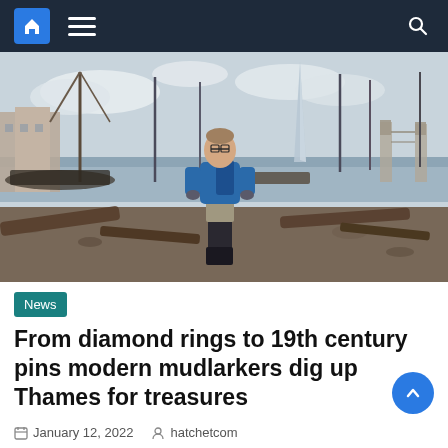Navigation bar with home, menu, and search icons
[Figure (photo): A man wearing a blue t-shirt, dark gloves, and boots standing on the muddy/rocky bank of the Thames river. In the background are tall ship masts, cranes, modern buildings including The Shard, and Tower Bridge.]
News
From diamond rings to 19th century pins modern mudlarkers dig up Thames for treasures
January 12, 2022   hatchetcom